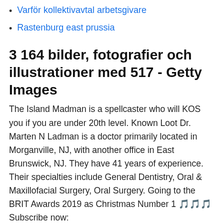Varför kollektivavtal arbetsgivare
Rastenburg east prussia
3 164 bilder, fotografier och illustrationer med 517 - Getty Images
The Island Madman is a spellcaster who will KOS you if you are under 20th level. Known Loot Dr. Marten N Ladman is a doctor primarily located in Morganville, NJ, with another office in East Brunswick, NJ. They have 41 years of experience. Their specialties include General Dentistry, Oral & Maxillofacial Surgery, Oral Surgery. Going to the BRIT Awards 2019 as Christmas Number 1 🎵🎵🎵 Subscribe now: